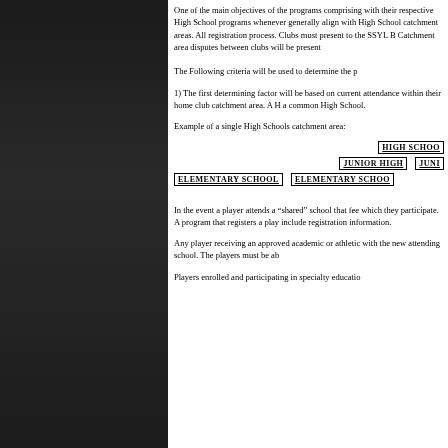One of the main objectives of the programs comprising with their respective High School programs whenever generally align with High School catchment areas. All registration process. Clubs must present to the SSYL B Catchment area disputes between clubs will be present
The Following criteria will be used to determine the p
1) The first determining factor will be based on current attendance within their home club catchment area. A H a common High School.
Example of a single High Schools catchment area:
[Figure (infographic): School catchment area diagram showing HIGH SCHOOL at top, JUNIOR HIGH and JUNIOR HIGH below it, and ELEMENTARY SCHOOL and ELEMENTARY SCHOOL at the bottom level, all connected in a hierarchy with box labels.]
In the event a player attends a "shared" school that fee which they participate. A program that registers a play include registration information.
Any player receiving an approved academic or athletic with the new attending school. The players must be ab
Players enrolled and participating in specialty educatio